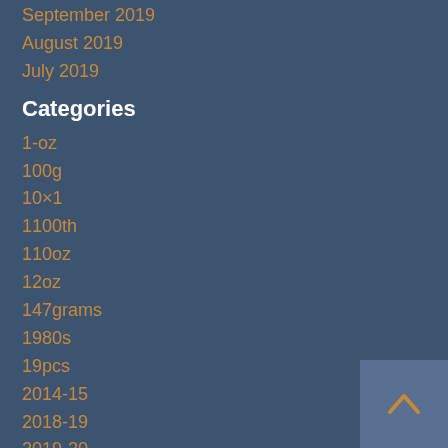September 2019
August 2019
July 2019
Categories
1-oz
100g
10×1
1100th
110oz
12oz
147grams
1980s
19pcs
2014-15
2018-19
2019-20
2019-p
2020-21
2021-22
2022-p
22-good
24kt
25×1
2gram
2grams